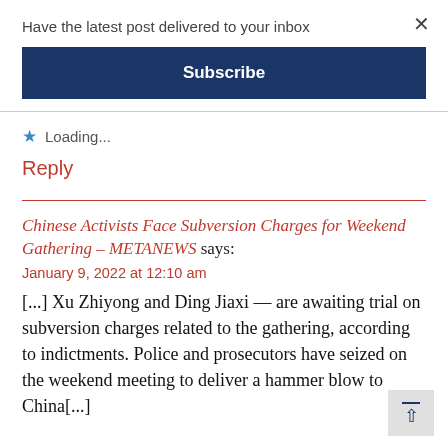Have the latest post delivered to your inbox
Subscribe
Loading...
Reply
Chinese Activists Face Subversion Charges for Weekend Gathering – METANEWS says:
January 9, 2022 at 12:10 am
[...] Xu Zhiyong and Ding Jiaxi — are awaiting trial on subversion charges related to the gathering, according to indictments. Police and prosecutors have seized on the weekend meeting to deliver a hammer blow to China[...]